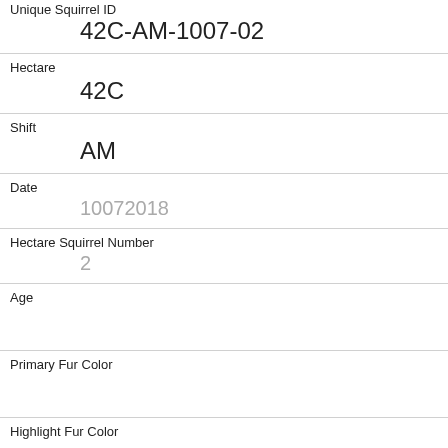| Unique Squirrel ID | 42C-AM-1007-02 |
| Hectare | 42C |
| Shift | AM |
| Date | 10072018 |
| Hectare Squirrel Number | 2 |
| Age |  |
| Primary Fur Color |  |
| Highlight Fur Color |  |
| Combination of Primary and Highlight Color | + |
| Color notes |  |
| Location |  |